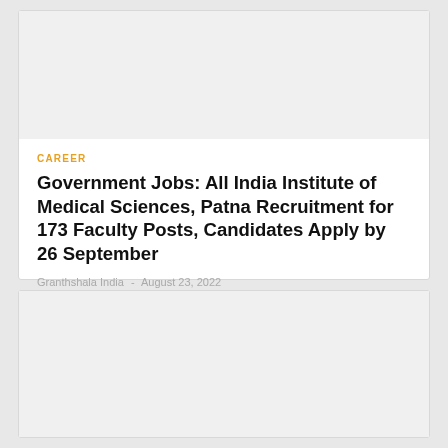[Figure (photo): Image placeholder area at top of first article card]
CAREER
Government Jobs: All India Institute of Medical Sciences, Patna Recruitment for 173 Faculty Posts, Candidates Apply by 26 September
Granthshala India  -  August 23, 2022
[Figure (photo): Image placeholder area at top of second article card]